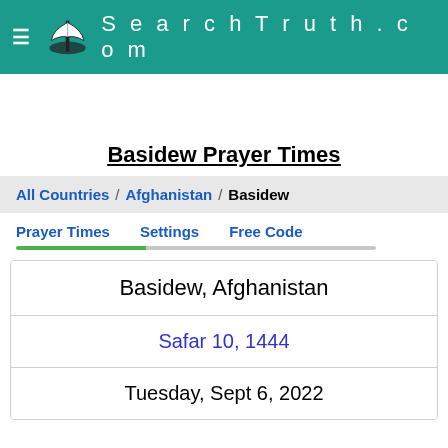SearchTruth.com
Basidew Prayer Times
All Countries / Afghanistan / Basidew
Prayer Times   Settings   Free Code
Basidew, Afghanistan
Safar 10, 1444
Tuesday, Sept 6, 2022